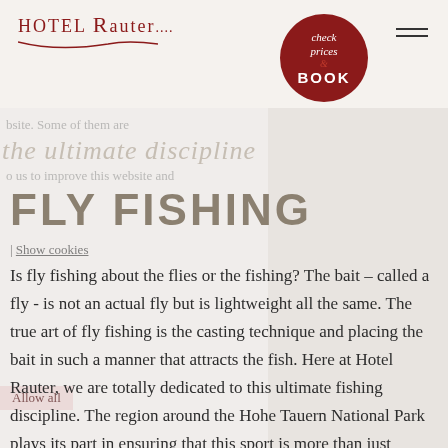HOTEL Rauter.....
[Figure (logo): Hotel Rauter logo with red text and cursive underline swoosh, plus a circular dark red button labeled 'check prices & BOOK']
bsite. Some of them are
the ultimate discipline
o us to improve this website and
FLY FISHING
| Show cookies
Is fly fishing about the flies or the fishing? The bait – called a fly - is not an actual fly but is lightweight all the same. The true art of fly fishing is the casting technique and placing the bait in such a manner that attracts the fish. Here at Hotel Rauter, we are totally dedicated to this ultimate fishing discipline. The region around the Hohe Tauern National Park plays its part in ensuring that this sport is more than just fishing.
Allow all